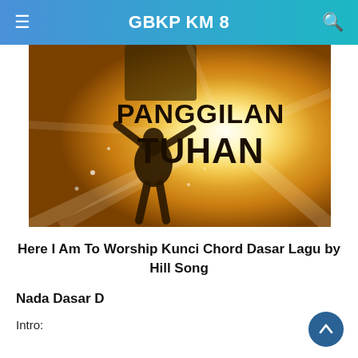GBKP KM 8
[Figure (photo): Hero image showing a silhouette of a person with arms raised in worship against a bright heavenly light. Text overlay reads 'PANGGILAN TUHAN' in bold dark letters on the right side.]
Here I Am To Worship Kunci Chord Dasar Lagu by Hill Song
Nada Dasar D
Intro: